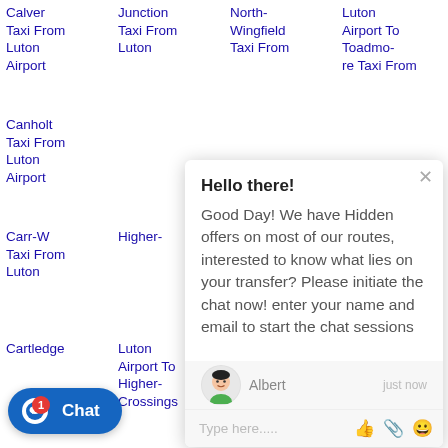Calver Taxi From Luton Airport
Junction Taxi From Luton
North-Wingfield Taxi From
Luton Airport To Toadmore Taxi From
Canholt Taxi From Luton Airport
Carr-Wold Taxi From Luton
Higher-
Norwood
Townend
Taxi From Luton Airport
Cartledge
Luton Airport To Higher-Crossings
Airport To Nuttals-Park Taxi From
Airport To Trentlock Taxi From Luton
Airport To
Hello there!
Good Day! We have Hidden offers on most of our routes, interested to know what lies on your transfer? Please initiate the chat now! enter your name and email to start the chat sessions
Albert
just now
Type here.....
Chat 1